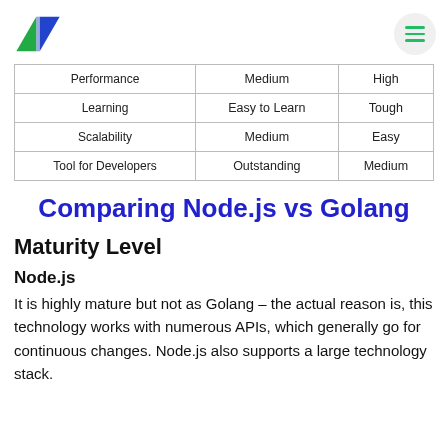Logo and menu navigation header
| Performance | Medium | High |
| Learning | Easy to Learn | Tough |
| Scalability | Medium | Easy |
| Tool for Developers | Outstanding | Medium |
Comparing Node.js vs Golang
Maturity Level
Node.js
It is highly mature but not as Golang – the actual reason is, this technology works with numerous APIs, which generally go for continuous changes. Node.js also supports a large technology stack.